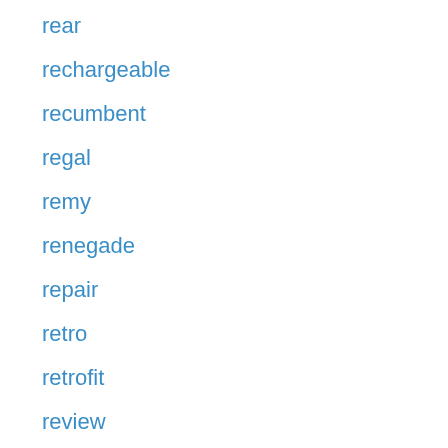rear
rechargeable
recumbent
regal
remy
renegade
repair
retro
retrofit
review
richbit
riddick
rider
riding
rinsun